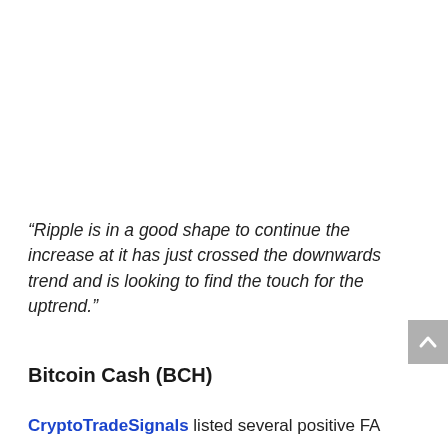“Ripple is in a good shape to continue the increase at it has just crossed the downwards trend and is looking to find the touch for the uptrend.”
Bitcoin Cash (BCH)
CryptoTradeSignals listed several positive FA